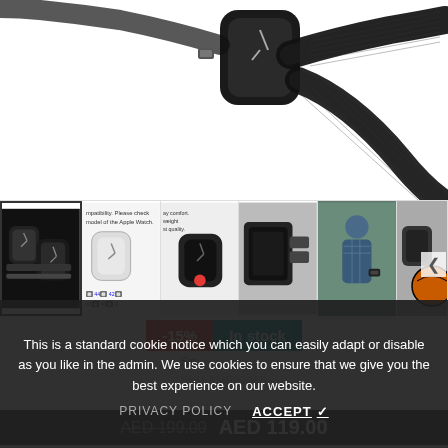[Figure (photo): Apple Watch with black nylon loop band, close-up product hero image on white background]
[Figure (photo): Thumbnail strip of 5 Apple Watch band product images showing compatibility, comfort, and material details]
-15%
In stock
This is a standard cookie notice which you can easily adapt or disable as you like in the admin. We use cookies to ensure that we give you the best experience on our website.
PRIVACY POLICY
ACCEPT ✓
SKU AMP02465
AED 199.00  AED 119.00